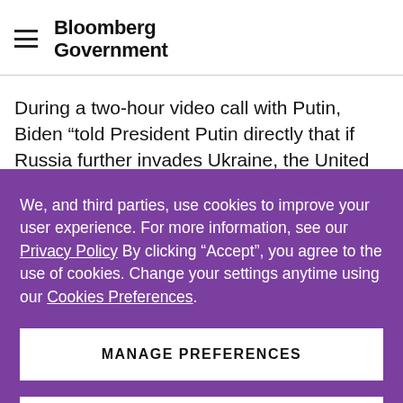Bloomberg Government
During a two-hour video call with Putin, Biden “told President Putin directly that if Russia further invades Ukraine, the United States and our European allies
We, and third parties, use cookies to improve your user experience. For more information, see our Privacy Policy By clicking “Accept”, you agree to the use of cookies. Change your settings anytime using our Cookies Preferences.
MANAGE PREFERENCES
ACCEPT